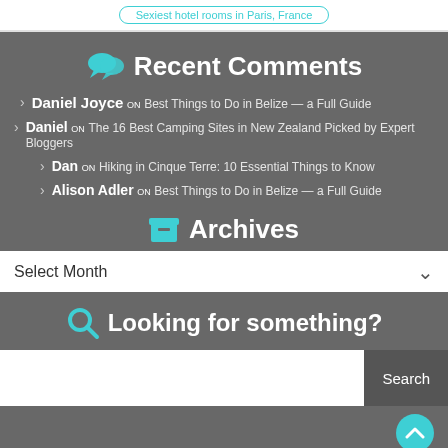Sexiest hotel rooms in Paris, France
Recent Comments
Daniel Joyce on Best Things to Do in Belize — a Full Guide
Daniel on The 16 Best Camping Sites in New Zealand Picked by Expert Bloggers
Dan on Hiking in Cinque Terre: 10 Essential Things to Know
Alison Adler on Best Things to Do in Belize — a Full Guide
Archives
Select Month
Looking for something?
Search